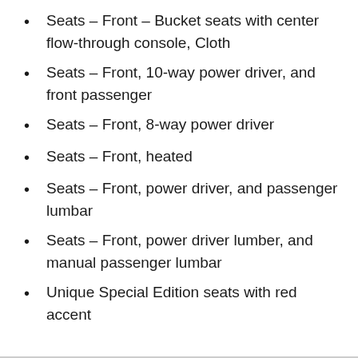Seats – Front – Bucket seats with center flow-through console, Cloth
Seats – Front, 10-way power driver, and front passenger
Seats – Front, 8-way power driver
Seats – Front, heated
Seats – Front, power driver, and passenger lumbar
Seats – Front, power driver lumber, and manual passenger lumbar
Unique Special Edition seats with red accent